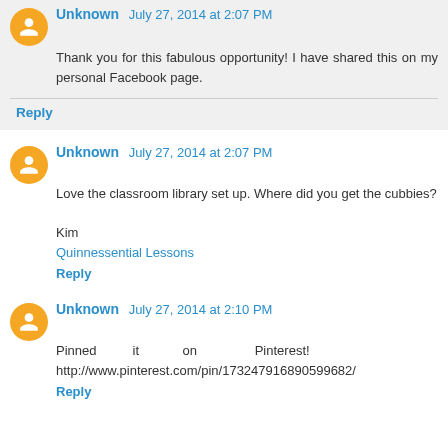Thank you for this fabulous opportunity! I have shared this on my personal Facebook page.
Reply
Unknown July 27, 2014 at 2:07 PM
Love the classroom library set up. Where did you get the cubbies?

Kim
Quinnessential Lessons
Reply
Unknown July 27, 2014 at 2:10 PM
Pinned it on Pinterest! http://www.pinterest.com/pin/173247916890599682/
Reply